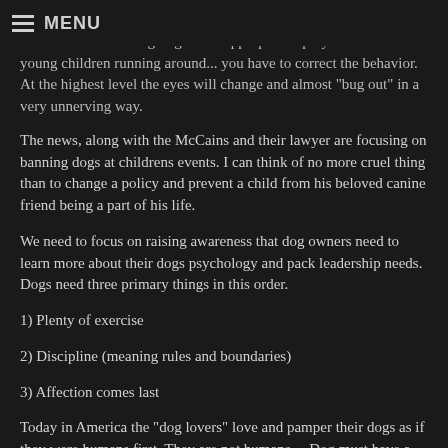MENU
When you see your dog is staring too intently at something... or with too excitable or going into inappropriate "prey drive" around young children running around... you have to correct the behavior. At the highest level the eyes will change and almost "bug out" in a very unnerving way.
The news, along with the McCains and their lawyer are focusing on banning dogs at childrens events. I can think of no more cruel thing than to change a policy and prevent a child from his beloved canine friend being a part of his life.
We need to focus on raising awareness that dog owners need to learn more about their dogs psychology and pack leadership needs. Dogs need three primary things in this order.
1) Plenty of exercise
2) Discipline (meaning rules and boundaries)
3) Affection comes last
Today in America the "dog lovers" love and pamper their dogs as if they were humans first. They are not humans... Dog must have a pack leader and rules to follow all of the time.
It is my hope that Edwin would consider helping me raise awareness about the pack leadership and exercise needs of our dogs. That is the only TRUE way to help prevent more of these types of needless injuries. Had this...